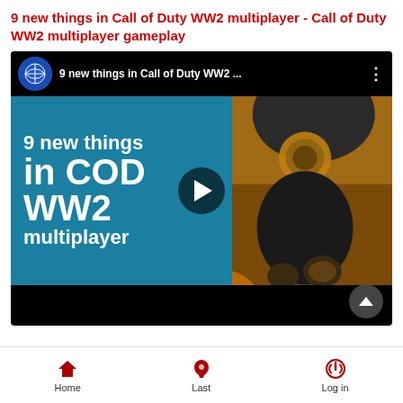9 new things in Call of Duty WW2 multiplayer - Call of Duty WW2 multiplayer gameplay
[Figure (screenshot): YouTube video thumbnail showing '9 new things in COD WW2 multiplayer' with a soldier in a gas mask on the right and teal text overlay on the left. A play button is centered. The video topbar shows a globe channel icon and the video title '9 new things in Call of Duty WW2 ...' with a three-dot menu.]
Home   Last   Log in